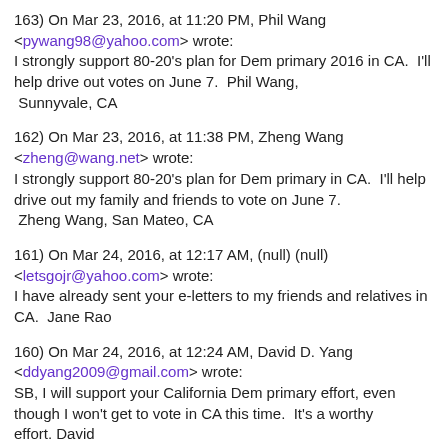163) On Mar 23, 2016, at 11:20 PM, Phil Wang <pywang98@yahoo.com> wrote:
I strongly support 80-20's plan for Dem primary 2016 in CA.  I'll help drive out votes on June 7.  Phil Wang, Sunnyvale, CA
162) On Mar 23, 2016, at 11:38 PM, Zheng Wang <zheng@wang.net> wrote:
I strongly support 80-20's plan for Dem primary in CA.  I'll help drive out my family and friends to vote on June 7.  Zheng Wang, San Mateo, CA
161) On Mar 24, 2016, at 12:17 AM, (null) (null) <letsgojr@yahoo.com> wrote:
I have already sent your e-letters to my friends and relatives in CA.  Jane Rao
160) On Mar 24, 2016, at 12:24 AM, David D. Yang <ddyang2009@gmail.com> wrote:
SB, I will support your California Dem primary effort, even though I won't get to vote in CA this time.  It's a worthy effort. David